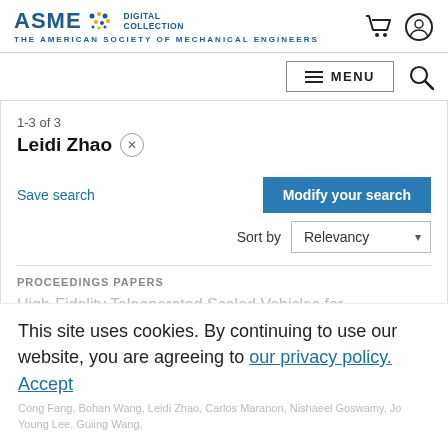[Figure (logo): ASME Digital Collection logo with tagline 'The American Society of Mechanical Engineers']
[Figure (screenshot): Header icons: shopping cart and user account circle]
≡  MENU
1-3 of 3
Leidi Zhao ×
Save search
Modify your search
Sort by  Relevancy
PROCEEDINGS PAPERS
High-Fidelity Teleoperated Scaled Vehicles for
This site uses cookies. By continuing to use our website, you are agreeing to our privacy policy. Accept
Cong Fang, Bohan Wang, Leidi Zhao, Carlos Maranon, Nishaeel Goswamy, Jo Young Lee, Guiing Wang,